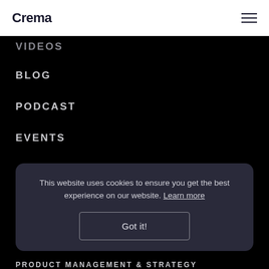Crema
VIDEOS
BLOG
PODCAST
EVENTS
This website uses cookies to ensure you get the best experience on our website. Learn more
Got it!
PRODUCT MANAGEMENT & STRATEGY